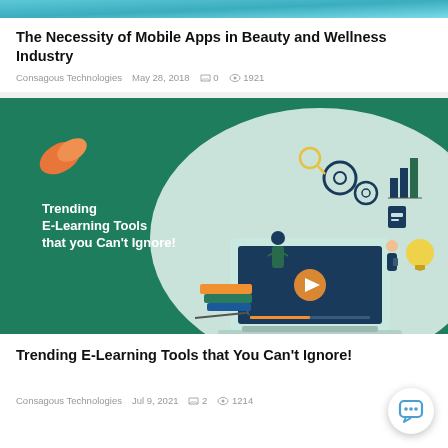[Figure (photo): Top colored banner strip in teal/blue tones]
The Necessity of Mobile Apps in Beauty and Wellness Industry
Consagous Technologies  May 28, 2018  💬 0  👁 1921
[Figure (illustration): Promotional banner for e-learning article with teal background, orange leaf logo, text 'Trending E-Learning Tools that you Can't Ignore!', and illustrations of laptop, books, gears, people, lightbulb, bar chart]
Trending E-Learning Tools that You Can't Ignore!
Consagous Technologies  Jul 9, 2021  💬 2  👁 1214